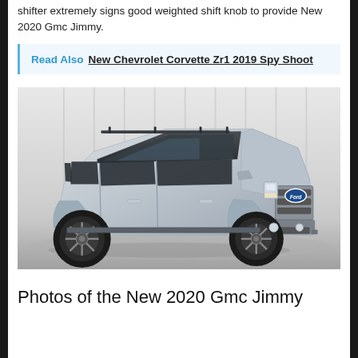shifter extremely signs good weighted shift knob to provide New 2020 Gmc Jimmy.
Read Also  New Chevrolet Corvette Zr1 2019 Spy Shoot
[Figure (photo): Silver SUV (resembling Ford Bronco concept) photographed in a studio setting with a light industrial background. The vehicle is a large 4-door off-road SUV with aggressive tires and chrome grille with Ford oval logo.]
Photos of the New 2020 Gmc Jimmy